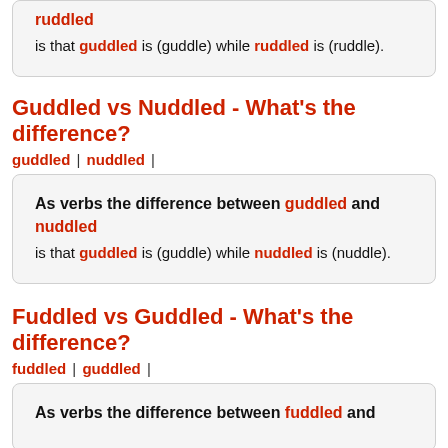ruddled
is that guddled is (guddle) while ruddled is (ruddle).
Guddled vs Nuddled - What's the difference?
guddled | nuddled |
As verbs the difference between guddled and nuddled is that guddled is (guddle) while nuddled is (nuddle).
Fuddled vs Guddled - What's the difference?
fuddled | guddled |
As verbs the difference between fuddled and